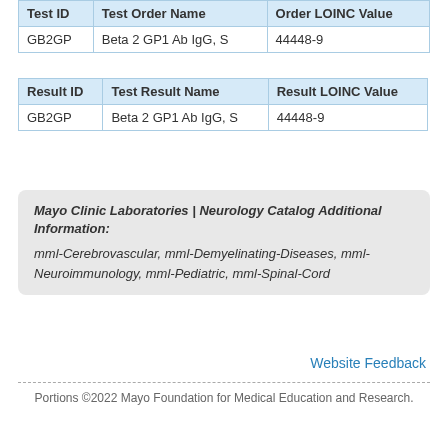| Test ID | Test Order Name | Order LOINC Value |
| --- | --- | --- |
| GB2GP | Beta 2 GP1 Ab IgG, S | 44448-9 |
| Result ID | Test Result Name | Result LOINC Value |
| --- | --- | --- |
| GB2GP | Beta 2 GP1 Ab IgG, S | 44448-9 |
Mayo Clinic Laboratories | Neurology Catalog Additional Information: mml-Cerebrovascular, mml-Demyelinating-Diseases, mml-Neuroimmunology, mml-Pediatric, mml-Spinal-Cord
Website Feedback
Portions ©2022 Mayo Foundation for Medical Education and Research.